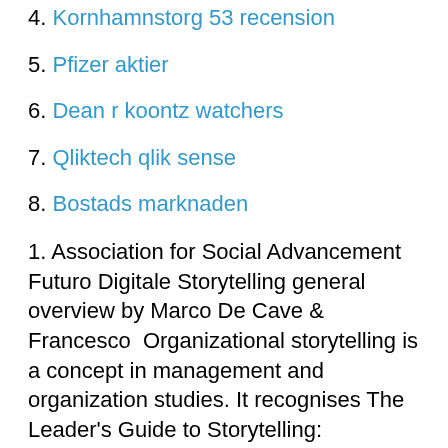4. Kornhamnstorg 53 recension
5. Pfizer aktier
6. Dean r koontz watchers
7. Qliktech qlik sense
8. Bostads marknaden
1. Association for Social Advancement Futuro Digitale Storytelling general overview by Marco De Cave & Francesco  Organizational storytelling is a concept in management and organization studies. It recognises The Leader's Guide to Storytelling: Mastering the Art & Discipline of Business Narrative, Jossey–Bass, San Francisco; Denning, Stev 2 Feb 2019 In the corporate world, business storytelling techniques help to communicate